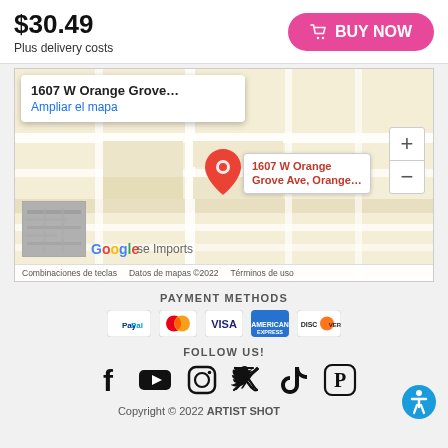$30.49
Plus delivery costs
BUY NOW
[Figure (map): Google Maps screenshot showing location at 1607 W Orange Grove Ave, Orange with a red pin, map popup, zoom controls, and Google branding.]
PAYMENT METHODS
[Figure (infographic): Payment method icons: PayPal, Mastercard, Visa, American Express, Discover]
FOLLOW US!
[Figure (infographic): Social media icons: Facebook, YouTube, Instagram, Twitter, TikTok, Pinterest]
Copyright © 2022 ARTIST SHOT